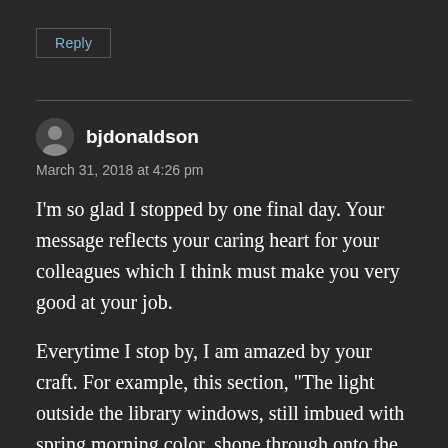Reply
bjdonaldson
March 31, 2018 at 4:26 pm
I’m so glad I stopped by one final day. Your message reflects your caring heart for your colleagues which I think must make you very good at your job.
Everytime I stop by, I am amazed by your craft. For example, this section, “The light outside the library windows, still imbued with spring morning color, shone through onto the carpet.